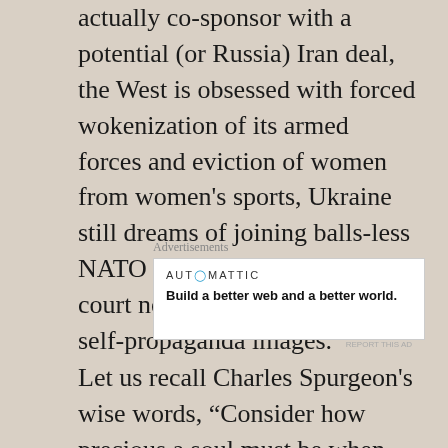...actually co-sponsor with a potential (or Russia) Iran deal, the West is obsessed with forced wokenization of its armed forces and eviction of women from women's sports, Ukraine still dreams of joining balls-less NATO coalition, and Putin's court nobility feeds him rosy self-propaganda images.
Advertisements
[Figure (other): Automattic advertisement: Build a better web and a better world.]
Let us recall Charles Spurgeon's wise words, "Consider how precious a soul must be when both God and the devil are after it." A modern rephrasing of this might be, "Why has Ukraine become so valuable that the leadership of